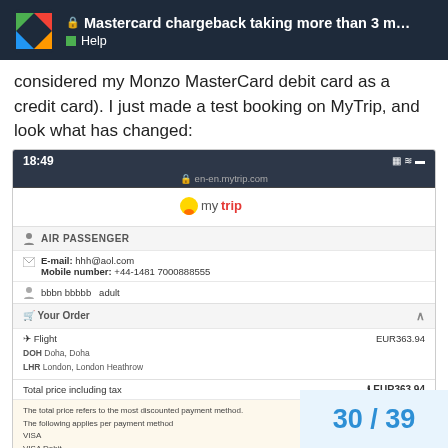Mastercard chargeback taking more than 3 m... | Help
considered my Monzo MasterCard debit card as a credit card). I just made a test booking on MyTrip, and look what has changed:
[Figure (screenshot): Screenshot of MyTrip mobile booking page showing Air Passenger section with email hhh@aol.com, Mobile number +44-1481 7000888555, passenger bbbn bbbbb adult, Your Order section with Flight EUR363.94 from DOH Doha, Doha to LHR London, London Heathrow, Total price including tax EUR363.94, and a note about payment methods including VISA, VISA Debit, VISA Electron, VISA Corporate all EUR0.00]
30 / 39